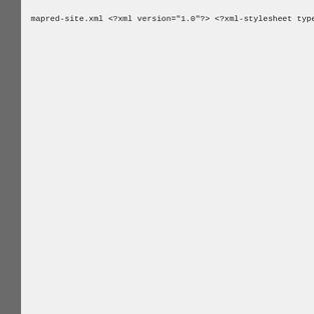mapred-site.xml
<?xml version="1.0"?>
<?xml-stylesheet type="text/xsl" href="configuration.xsl"

<!-- Put site-specific property overrides in this file.

<configuration>
    <property>
        <name>mapred.job.tracker</name>
        <value>localhost:9001</value>
    </property>
    <property>
        <name>mapred.tasktracker.map.tasks.maximum</name>
        <value>5</value>
    </property>
    <property>
        <name>mapred.tasktracker.reduce.tasks.maximum</n>
        <value>5</value>
    </property>
    <property>
        <name>mapred.child.java.opts</name>
        <value>-Xmx512m</value>
    </property>